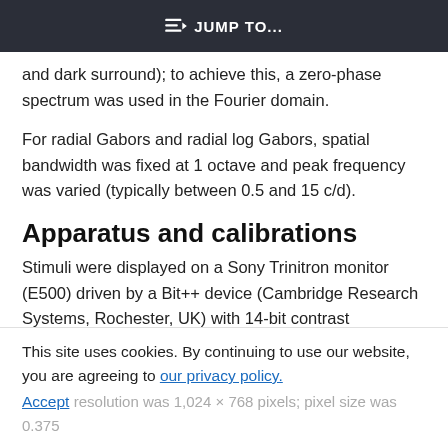JUMP TO...
and dark surround); to achieve this, a zero-phase spectrum was used in the Fourier domain.
For radial Gabors and radial log Gabors, spatial bandwidth was fixed at 1 octave and peak frequency was varied (typically between 0.5 and 15 c/d).
Apparatus and calibrations
Stimuli were displayed on a Sony Trinitron monitor (E500) driven by a Bit++ device (Cambridge Research Systems, Rochester, UK) with 14-bit contrast
This site uses cookies. By continuing to use our website, you are agreeing to our privacy policy. Accept resolution was 1,024 × 768 pixels; pixel size was 0.375